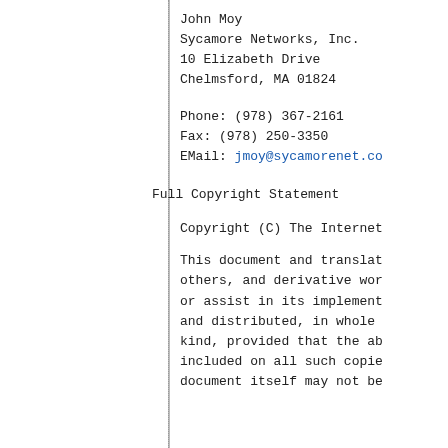John Moy
Sycamore Networks, Inc.
10 Elizabeth Drive
Chelmsford, MA 01824
Phone: (978) 367-2161
Fax:   (978) 250-3350
EMail: jmoy@sycamorenet.co
Full Copyright Statement
Copyright (C) The Internet
This document and translat others, and derivative wor or assist in its implement and distributed, in whole kind, provided that the ab included on all such copie document itself may not be